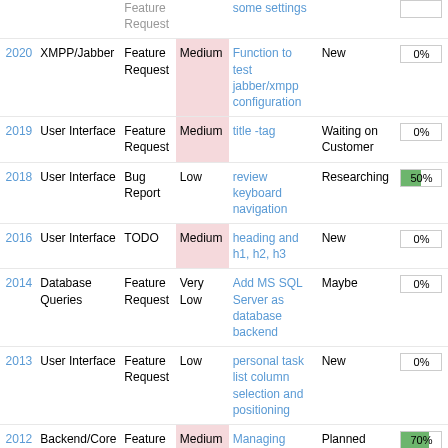| ID | Category | Type | Priority | Summary | Status | Progress |
| --- | --- | --- | --- | --- | --- | --- |
| 2020 | XMPP/Jabber | Feature Request | Medium | Function to test jabber/xmpp configuration | New | 0% |
| 2019 | User Interface | Feature Request | Medium | title -tag | Waiting on Customer | 0% |
| 2018 | User Interface | Bug Report | Low | review keyboard navigation | Researching | 50% |
| 2016 | User Interface | TODO | Medium | heading and h1, h2, h3 | New | 0% |
| 2014 | Database Queries | Feature Request | Very Low | Add MS SQL Server as database backend | Maybe | 0% |
| 2013 | User Interface | Feature Request | Low | personal task list column selection and positioning | New | 0% |
| 2012 | Backend/Core | Feature Request | Medium | Managing Tags | Planned | 70% |
| 2010 | User Interface | Feature Request | Low | effort tracking widget | New | 0% |